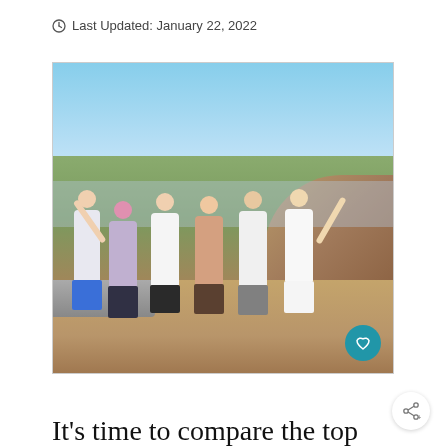Last Updated: January 22, 2022
[Figure (photo): Six young women posing together on a hillside with a panoramic city view (likely Los Angeles) and clear blue sky in the background. They are smiling, some with arms raised in celebration.]
It’s time to compare the top